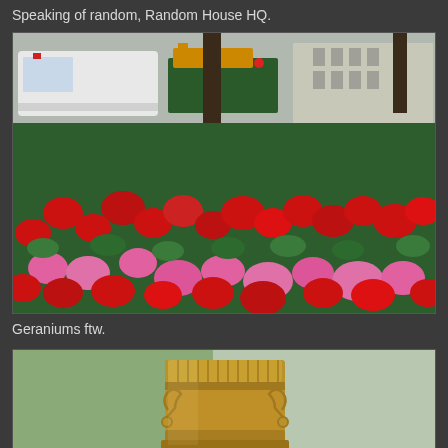Speaking of random, Random House HQ.
[Figure (photo): Close-up photograph of a flower bed filled with red and pink geraniums in full bloom, with a street scene visible in the background including a white bus, green construction equipment, and a white building.]
Geraniums ftw.
[Figure (photo): Close-up photograph of an ornate bronze or gold-colored decorative lamp post base with classical scrollwork and relief carvings, with blurred green foliage in the background.]